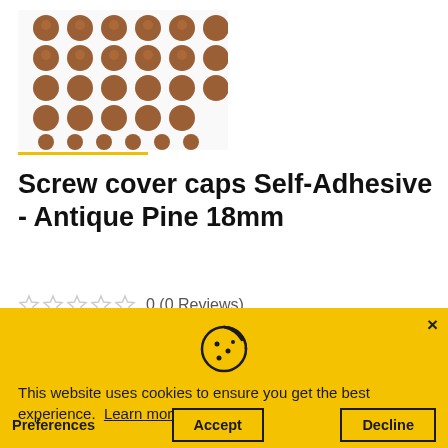[Figure (photo): Product image showing a grid of round brown self-adhesive screw cover caps (antique pine color) arranged in rows]
Screw cover caps Self-Adhesive - Antique Pine 18mm
0 (0 Reviews)
Availability: In Stock
[Figure (infographic): Cookie consent overlay with cookie icon, message 'This website uses cookies to ensure you get the best experience. Learn more', and three buttons: Preferences, Accept, Decline]